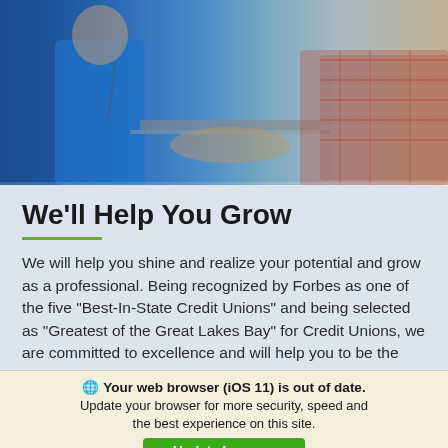[Figure (photo): People working together at a laptop, including a person in a blue shirt and another in a plaid shirt, with a blue background on the left side]
We'll Help You Grow
We will help you shine and realize your potential and grow as a professional. Being recognized by Forbes as one of the five “Best-In-State Credit Unions” and being selected as “Greatest of the Great Lakes Bay” for Credit Unions, we are committed to excellence and will help you to be the
Your web browser (iOS 11) is out of date. Update your browser for more security, speed and the best experience on this site. Update browser